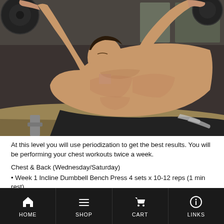[Figure (photo): A muscular shirtless man performing an incline dumbbell bench press exercise on a gym bench, photographed from a low angle. He is pressing a weight overhead with both arms extended, wearing black athletic shorts. The gym background is visible with equipment and lighting.]
At this level you will use periodization to get the best results. You will be performing your chest workouts twice a week.
Chest & Back (Wednesday/Saturday)
• Week 1 Incline Dumbbell Bench Press 4 sets x 10-12 reps (1 min rest)
Chest Dips 4 sets x 10-12 reps (1 min rest)
HOME   SHOP   CART   LINKS